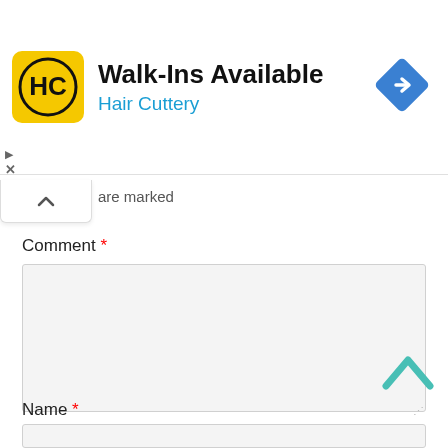[Figure (screenshot): Hair Cuttery advertisement banner with yellow logo showing HC initials, title 'Walk-Ins Available', subtitle 'Hair Cuttery' in blue, and a blue diamond navigation icon on the right.]
are marked
Comment *
Name *